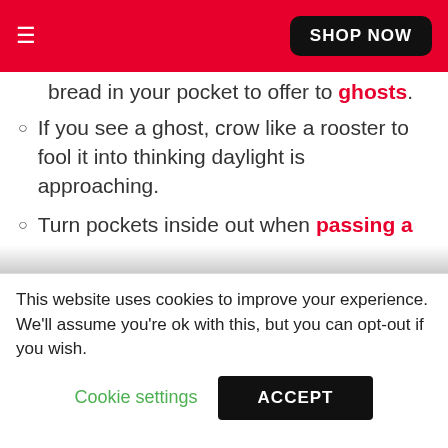≡  ) SHOP NOW
...bread in your pocket to offer to ghosts.
If you see a ghost, crow like a rooster to fool it into thinking daylight is approaching.
Turn pockets inside out when passing a graveyard so a ghost doesn't come home with you.
This website uses cookies to improve your experience. We'll assume you're ok with this, but you can opt-out if you wish.
Cookie settings   ACCEPT